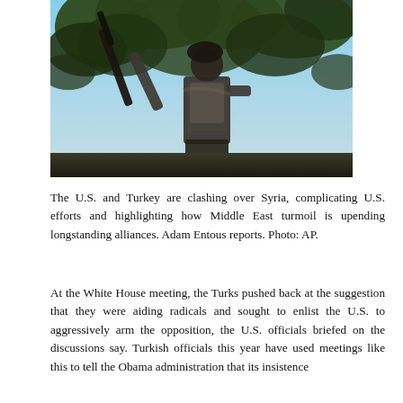[Figure (photo): A fighter holding a rifle looking upward, with trees in the background. The image appears to show a Syrian opposition fighter outdoors.]
The U.S. and Turkey are clashing over Syria, complicating U.S. efforts and highlighting how Middle East turmoil is upending longstanding alliances. Adam Entous reports. Photo: AP.
At the White House meeting, the Turks pushed back at the suggestion that they were aiding radicals and sought to enlist the U.S. to aggressively arm the opposition, the U.S. officials briefed on the discussions say. Turkish officials this year have used meetings like this to tell the Obama administration that its insistence